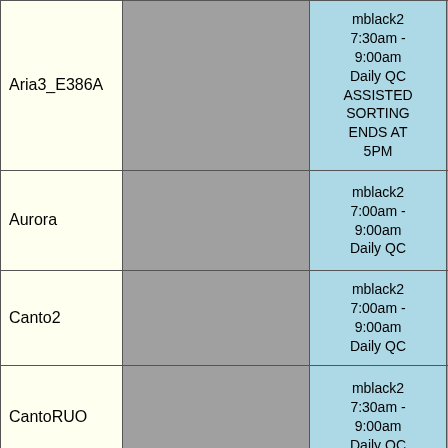| Name |  | QC Info |  |
| --- | --- | --- | --- |
| Aria3_E386A |  | mblack2
7:30am - 9:00am
Daily QC
ASSISTED SORTING
ENDS AT 5PM |  |
| Aurora |  | mblack2
7:00am - 9:00am
Daily QC | 9:... |
| Canto2 |  | mblack2
7:00am - 9:00am
Daily QC |  |
| CantoRUO |  | mblack2
7:30am - 9:00am
Daily QC | s
9:3
10
Sh
W |